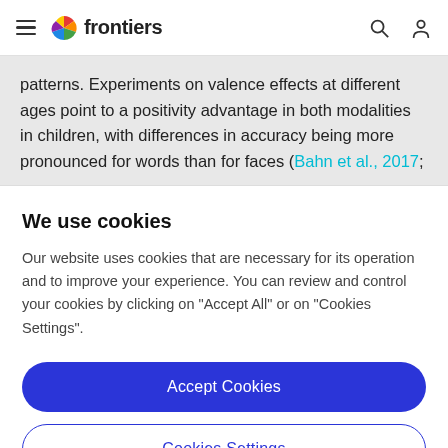frontiers
patterns. Experiments on valence effects at different ages point to a positivity advantage in both modalities in children, with differences in accuracy being more pronounced for words than for faces (Bahn et al., 2017;
We use cookies
Our website uses cookies that are necessary for its operation and to improve your experience. You can review and control your cookies by clicking on "Accept All" or on "Cookies Settings".
Accept Cookies
Cookies Settings